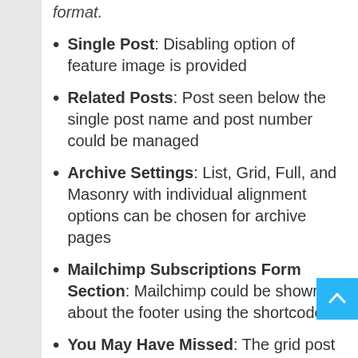format.
Single Post: Disabling option of feature image is provided
Related Posts: Post seen below the single post name and post number could be managed
Archive Settings: List, Grid, Full, and Masonry with individual alignment options can be chosen for archive pages
Mailchimp Subscriptions Form Section: Mailchimp could be shown about the footer using the shortcode
You May Have Missed: The grid post section seen above the footer section could be managed
Footer: Theme Credits hiding option present in the footer section
Each section has multiple settings, check them